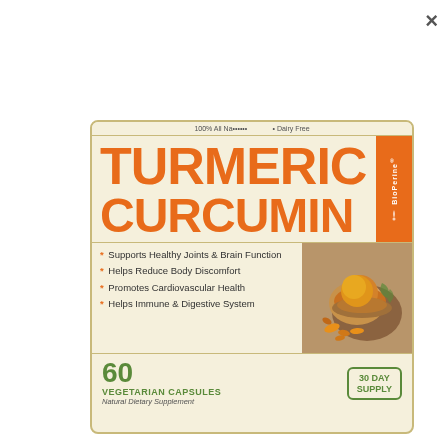[Figure (photo): Turmeric Curcumin supplement bottle label showing product name in large orange text, BioPerine badge on right side, four health benefit bullet points, photo of turmeric powder and roots, 60 vegetarian capsules, 30 day supply]